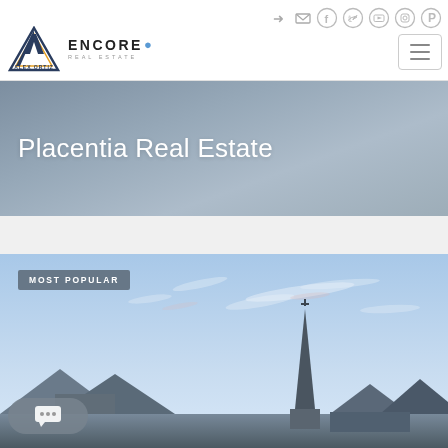[Figure (logo): Alex Ortiz and Encore Real Estate logo in website header]
[Figure (screenshot): Website header with social media icons (login arrow, mail, Facebook, Twitter, YouTube, Instagram, Pinterest) and hamburger menu button]
Placentia Real Estate
[Figure (photo): Property photo showing rooftops of houses against a blue sky with wispy clouds, with a church spire visible. Badge reads MOST POPULAR. Chat widget visible in lower left.]
MOST POPULAR